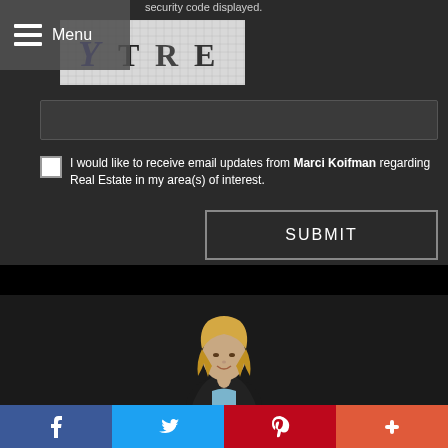Menu
security code displayed.
[Figure (screenshot): CAPTCHA image showing letters Y T R E on a grid background]
[Figure (screenshot): Text input field (empty) for entering security code]
I would like to receive email updates from Marci Koifman regarding Real Estate in my area(s) of interest.
SUBMIT
[Figure (photo): Professional headshot photo of Marci Koifman, a woman with blonde hair wearing a dark blazer]
[Figure (infographic): Social media share bar with Facebook, Twitter, Pinterest, and More (+) buttons]